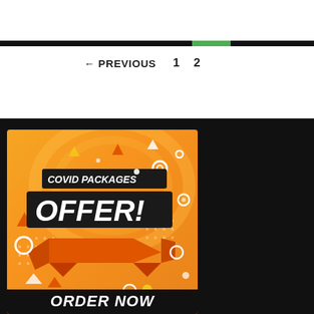← PREVIOUS   1   2
[Figure (illustration): COVID Packages OFFER! promotional advertisement banner with orange background, decorative geometric shapes, dark banner with bold white text, orange ribbon graphic, and ORDER NOW button at the bottom]